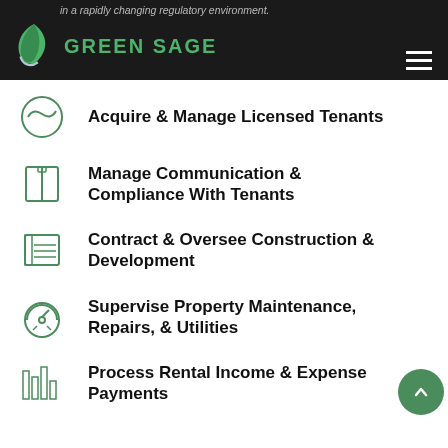in a rapidly changing regulatory environment.
Acquire & Manage Licensed Tenants
Manage Communication & Compliance With Tenants
Contract & Oversee Construction & Development
Supervise Property Maintenance, Repairs, & Utilities
Process Rental Income & Expense Payments